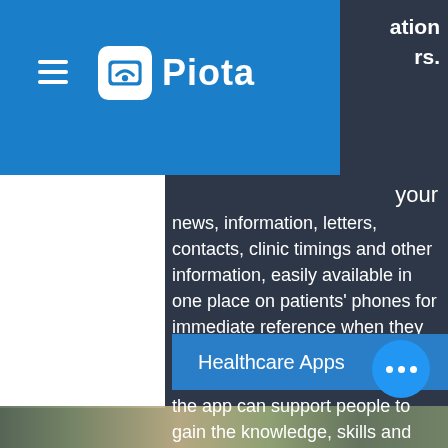[Figure (screenshot): Piota app navigation bar with hamburger menu icon and Piota logo on blue background]
ation rs.
your news, information, letters, contacts, clinic timings and other information, easily available in one place on patients' phones for immediate reference when they need it. With the emphasis on patient-centred care, we believe the app can support people to gain the knowledge, skills and confidence they need to effectively manage and make informed decisions about their own health care.
Healthcare Apps
[Figure (photo): Bottom strip showing a partial photograph of a building exterior with trees]